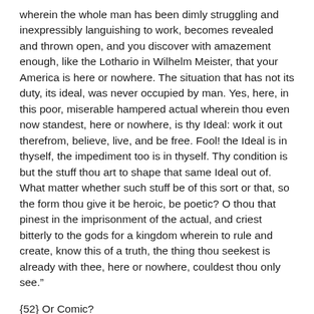wherein the whole man has been dimly struggling and inexpressibly languishing to work, becomes revealed and thrown open, and you discover with amazement enough, like the Lothario in Wilhelm Meister, that your America is here or nowhere. The situation that has not its duty, its ideal, was never occupied by man. Yes, here, in this poor, miserable hampered actual wherein thou even now standest, here or nowhere, is thy Ideal: work it out therefrom, believe, live, and be free. Fool! the Ideal is in thyself, the impediment too is in thyself. Thy condition is but the stuff thou art to shape that same Ideal out of. What matter whether such stuff be of this sort or that, so the form thou give it be heroic, be poetic? O thou that pinest in the imprisonment of the actual, and criest bitterly to the gods for a kingdom wherein to rule and create, know this of a truth, the thing thou seekest is already with thee, here or nowhere, couldest thou only see.”
{52} Or Comic?
{53} In pistrinum. In the pounding-mill (usually worked by horses or asses).
{54} Or Tragic?
{55} The old song of Percy and Douglas, Chevy Chase in its first